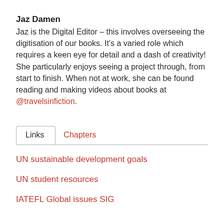Jaz Damen
Jaz is the Digital Editor – this involves overseeing the digitisation of our books. It's a varied role which requires a keen eye for detail and a dash of creativity! She particularly enjoys seeing a project through, from start to finish. When not at work, she can be found reading and making videos about books at @travelsinfiction.
Links | Chapters
UN sustainable development goals
UN student resources
IATEFL Global issues SIG